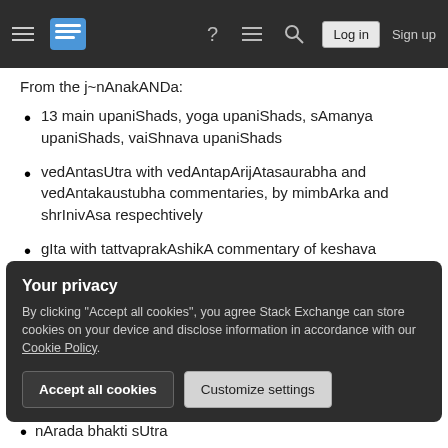Navigation bar with hamburger menu, Stack Exchange logo, help icon, chat icon, search icon, Log in button, Sign up button
From the j~nAnakANDa:
13 main upaniShads, yoga upaniShads, sAmanya upaniShads, vaiShnava upaniShads
vedAntasUtra with vedAntapArijAtasaurabha and vedAntakaustubha commentaries, by mimbArka and shrInivAsa respechtively
gIta with tattvaprakAshikA commentary of keshava kAshmIri
other sUtras and purANic literature:
Your privacy
By clicking "Accept all cookies", you agree Stack Exchange can store cookies on your device and disclose information in accordance with our Cookie Policy.
nArada bhakti sUtra